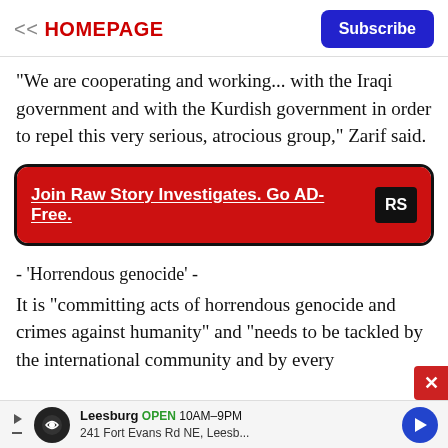<< HOMEPAGE | Subscribe
"We are cooperating and working... with the Iraqi government and with the Kurdish government in order to repel this very serious, atrocious group," Zarif said.
[Figure (other): Red banner ad with rounded border: 'Join Raw Story Investigates. Go AD-Free.' with RS logo]
- 'Horrendous genocide' -
It is "committing acts of horrendous genocide and crimes against humanity" and "needs to be tackled by the international community and by every
Leesburg OPEN 10AM-9PM | 241 Fort Evans Rd NE, Leesb...